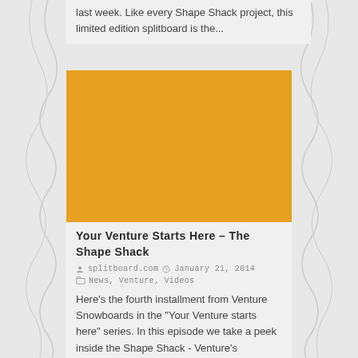last week.  Like every Shape Shack project, this limited edition splitboard is the...
[Figure (photo): Orange/amber colored rectangle placeholder image for a video or photo thumbnail]
Your Venture Starts Here – The Shape Shack
splitboard.com   January 21, 2014
News, Venture, Videos
Here's the fourth installment from Venture Snowboards in the "Your Venture starts here" series. In this episode we take a peek inside the Shape Shack - Venture's